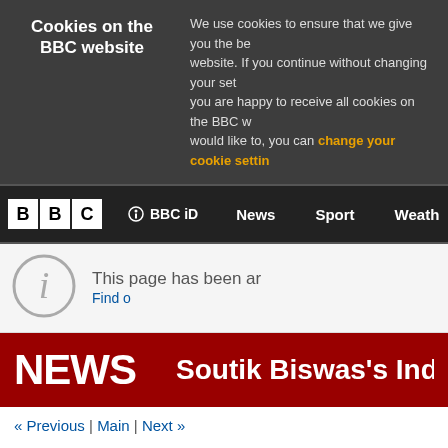Cookies on the BBC website — We use cookies to ensure that we give you the best experience on our website. If you continue without changing your settings, we'll assume that you are happy to receive all cookies on the BBC website. However, if you would like to, you can change your cookie settings
BBC | BBC iD | News | Sport | Weather
This page has been archived and is no longer updated. Find out more about page archiving.
NEWS   Soutik Biswas's India
« Previous | Main | Next »
Harbingers of hope for India in 2010?
Soutik Biswas | 11:05 UK time, Friday, 8 January 2010
Has India's "Deciding Decade" begun? A study, done by a Delhi-based organisation, finds with alarming